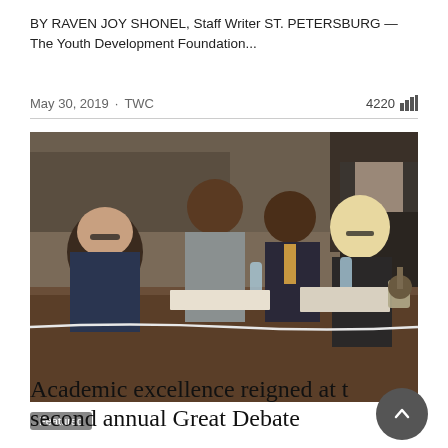BY RAVEN JOY SHONEL, Staff Writer ST. PETERSBURG — The Youth Development Foundation...
May 30, 2019 · TWC  4220
[Figure (photo): Group of people seated at a long table in an auditorium or meeting hall setting, appearing to be judges or panelists at an event. A woman with glasses and curly hair on the left, a man in a gray suit leaning over, a man in a suit with a tie smiling broadly, a blonde woman with glasses on the right, and a police officer in background.]
Featured
Academic excellence reigned at the second annual Great Debate